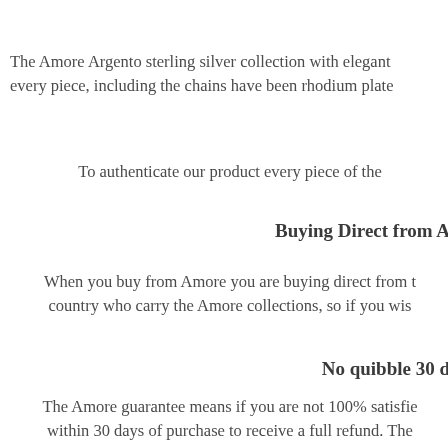The Amore Argento sterling silver collection with elegant every piece, including the chains have been rhodium plate
To authenticate our product every piece of the
Buying Direct from A
When you buy from Amore you are buying direct from t country who carry the Amore collections, so if you wis
No quibble 30 d
The Amore guarantee means if you are not 100% satisfie within 30 days of purchase to receive a full refund. The jewellery must be returned in t